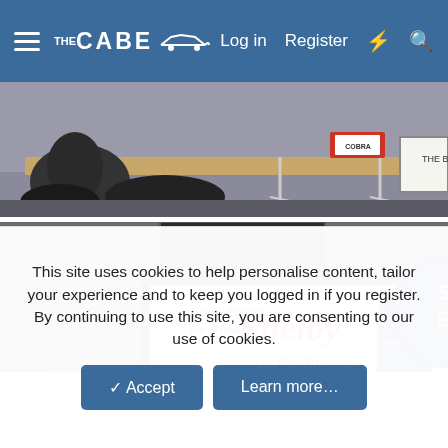THE CABE — Log in | Register
[Figure (photo): Interior shelf with items including what appears to be a Cobra model or toy, a wooden shelf bracket, and a framed picture partially visible on the right reading 'THE B']
[Figure (photo): A illuminated Shelby Air Flo Bicycles sign reading 'Look Ahead Be Ahead Shelby Air Flo Bicycles' in red and blue script, with a round Shelby bicycle dealer sign partially visible on the right]
This site uses cookies to help personalise content, tailor your experience and to keep you logged in if you register.
By continuing to use this site, you are consenting to our use of cookies.
✓ Accept
Learn more...